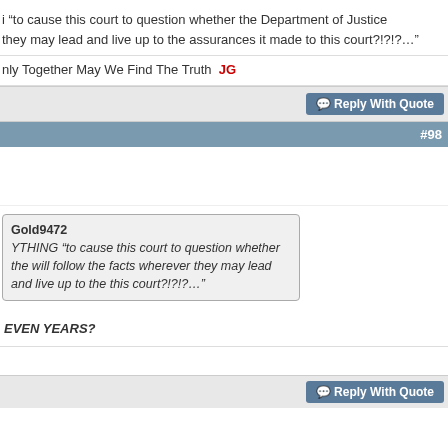“to cause this court to question whether the Department of Justice they may lead and live up to the assurances it made to this court?!?!?…”
Only Together May We Find The Truth  JG
Reply With Quote
#98
Gold9472
YTHING “to cause this court to question whether the will follow the facts wherever they may lead and live up to the this court?!?!?…”
EVEN YEARS?
Reply With Quote